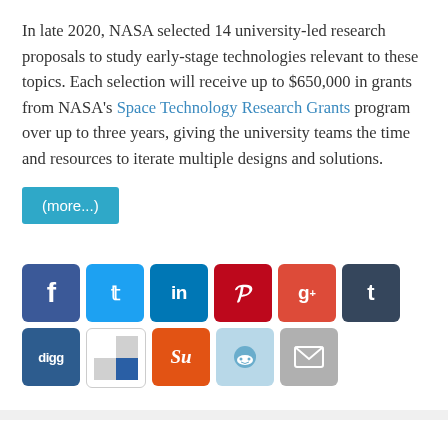In late 2020, NASA selected 14 university-led research proposals to study early-stage technologies relevant to these topics. Each selection will receive up to $650,000 in grants from NASA's Space Technology Research Grants program over up to three years, giving the university teams the time and resources to iterate multiple designs and solutions.
[Figure (other): Social sharing buttons: Facebook, Twitter, LinkedIn, Pinterest, Google+, Tumblr, Digg, ShareThis/Checkmark, StumbleUpon, Reddit, Email]
A Closer Look at National Space Council User's Advisory Group